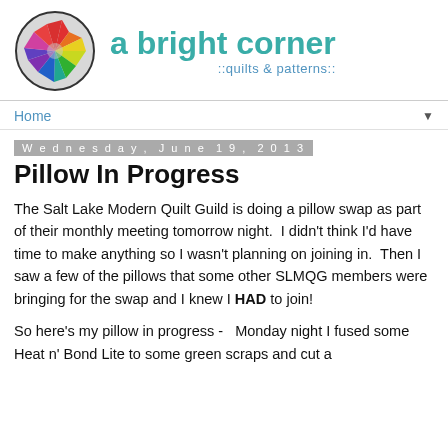[Figure (logo): Circular quilt star logo with rainbow-colored star pattern on grey background, next to site name 'a bright corner' and subtitle '::quilts & patterns::']
Home ▼
Wednesday, June 19, 2013
Pillow In Progress
The Salt Lake Modern Quilt Guild is doing a pillow swap as part of their monthly meeting tomorrow night.  I didn't think I'd have time to make anything so I wasn't planning on joining in.  Then I saw a few of the pillows that some other SLMQG members were bringing for the swap and I knew I HAD to join!
So here's my pillow in progress -   Monday night I fused some Heat n' Bond Lite to some green scraps and cut a